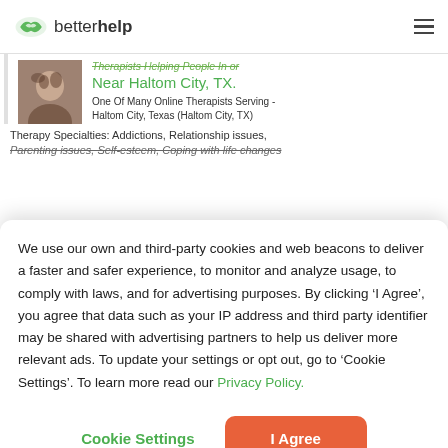betterhelp
Therapists Helping People In or Near Haltom City, TX. One Of Many Online Therapists Serving - Haltom City, Texas (Haltom City, TX)
Therapy Specialties: Addictions, Relationship issues, Parenting issues, Self-esteem, Coping with life changes
We use our own and third-party cookies and web beacons to deliver a faster and safer experience, to monitor and analyze usage, to comply with laws, and for advertising purposes. By clicking ‘I Agree’, you agree that data such as your IP address and third party identifier may be shared with advertising partners to help us deliver more relevant ads. To update your settings or opt out, go to ‘Cookie Settings’. To learn more read our Privacy Policy.
Cookie Settings
I Agree